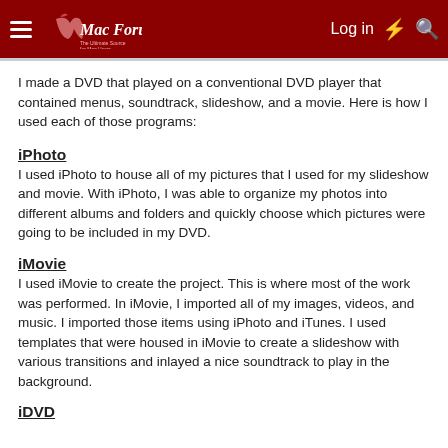Mac Forums | Log in
I made a DVD that played on a conventional DVD player that contained menus, soundtrack, slideshow, and a movie. Here is how I used each of those programs:
iPhoto
I used iPhoto to house all of my pictures that I used for my slideshow and movie. With iPhoto, I was able to organize my photos into different albums and folders and quickly choose which pictures were going to be included in my DVD.
iMovie
I used iMovie to create the project. This is where most of the work was performed. In iMovie, I imported all of my images, videos, and music. I imported those items using iPhoto and iTunes. I used templates that were housed in iMovie to create a slideshow with various transitions and inlayed a nice soundtrack to play in the background.
iDVD